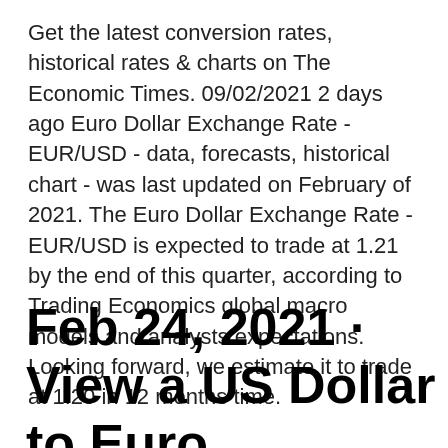Get the latest conversion rates, historical rates & charts on The Economic Times. 09/02/2021 2 days ago Euro Dollar Exchange Rate - EUR/USD - data, forecasts, historical chart - was last updated on February of 2021. The Euro Dollar Exchange Rate - EUR/USD is expected to trade at 1.21 by the end of this quarter, according to Trading Economics global macro models and analysts expectations. Looking forward, we estimate it to trade at 1.20 in 12 months time.
Feb 24, 2021 · View a US Dollar to Euro currency exchange rate graph.